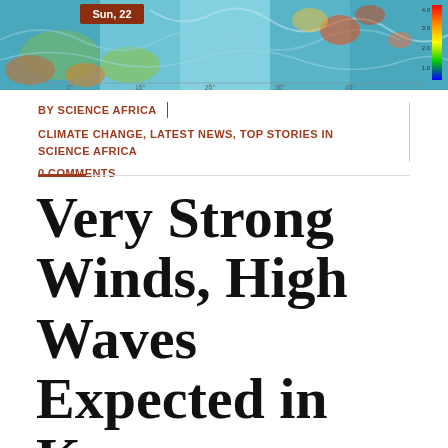[Figure (map): Satellite or weather map showing ocean/wind data with colorful visualization. A label 'Sun, 22' is visible in a brown/red box in the upper-left area of the map. A color scale legend is visible on the right edge.]
BY SCIENCE AFRICA
CLIMATE CHANGE, LATEST NEWS, TOP STORIES IN SCIENCE AFRICA
0 COMMENTS
Very Strong Winds, High Waves Expected in Kenya, Residents